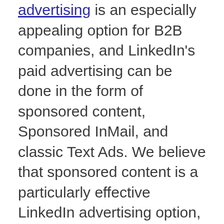advertising is an especially appealing option for B2B companies, and LinkedIn's paid advertising can be done in the form of sponsored content, Sponsored InMail, and classic Text Ads. We believe that sponsored content is a particularly effective LinkedIn advertising option, as it can provide value to your clients while helping to establish your brand as a thought leader in its field.

Adobe, Hubspot, IR, and VistaVu are just a few examples of companies that have advertised on LinkedIn and achieved